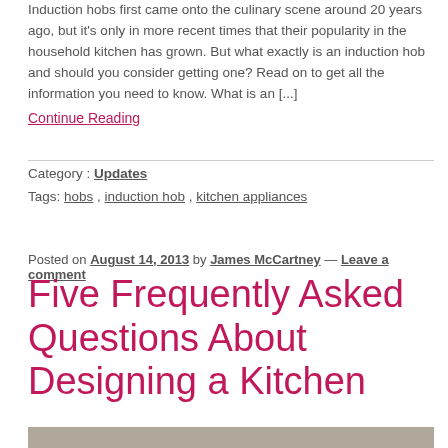Induction hobs first came onto the culinary scene around 20 years ago, but it's only in more recent times that their popularity in the household kitchen has grown. But what exactly is an induction hob and should you consider getting one? Read on to get all the information you need to know. What is an [...]
Continue Reading
Category: Updates
Tags: hobs , induction hob , kitchen appliances
Posted on August 14, 2013 by James McCartney — Leave a comment
Five Frequently Asked Questions About Designing a Kitchen
[Figure (photo): Photo strip showing a kitchen scene at the bottom of the page]